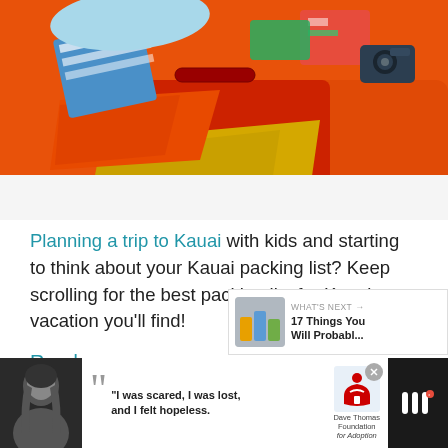[Figure (photo): Overhead photo of colorful clothes, a red suitcase, and travel items on an orange background. Items include striped fabric, yellow clothing, and a camera.]
Planning a trip to Kauai with kids and starting to think about your Kauai packing list? Keep scrolling for the best packing list for Kauai vacation you'll find!
Read more
[Figure (photo): What's Next panel showing thumbnail of colorful cups/bottles with label '17 Things You Will Probabl...']
[Figure (photo): Advertisement banner at bottom: Black and white photo of woman on left, quote text 'I was scared, I was lost, and I felt hopeless.' with Dave Thomas Foundation for Adoption logo, on dark background.]